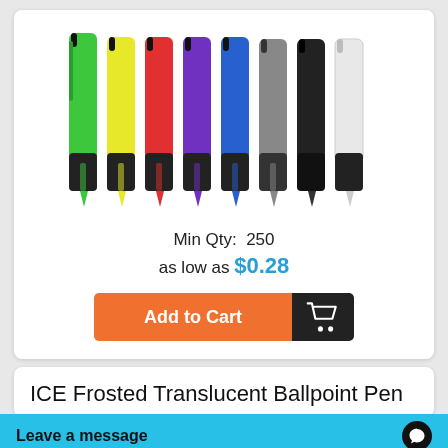[Figure (photo): Seven ballpoint pens in different colors (green, yellow, red, purple, blue, gray, black, white) with black rubberized grips, arranged side by side]
Min Qty:  250
as low as $0.28
Add to Cart
ICE Frosted Translucent Ballpoint Pen
Leave a message